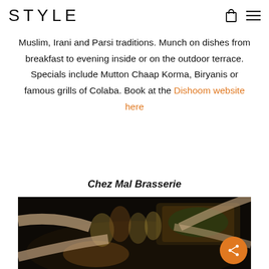STYLE
Muslim, Irani and Parsi traditions. Munch on dishes from breakfast to evening inside or on the outdoor terrace. Specials include Mutton Chaap Korma, Biryanis or famous grills of Colaba. Book at the Dishoom website here
Chez Mal Brasserie
[Figure (photo): Overhead view of people clinking wine glasses over a table spread with food dishes in a restaurant setting.]